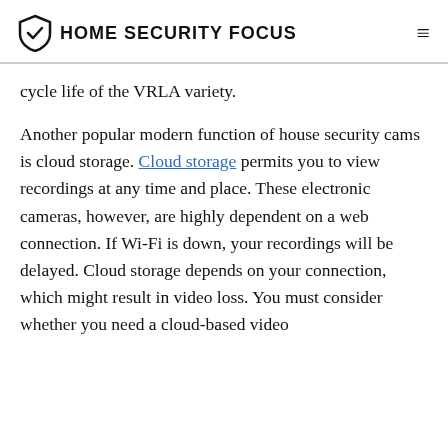HOME SECURITY FOCUS
cycle life of the VRLA variety.
Another popular modern function of house security cams is cloud storage. Cloud storage permits you to view recordings at any time and place. These electronic cameras, however, are highly dependent on a web connection. If Wi-Fi is down, your recordings will be delayed. Cloud storage depends on your connection, which might result in video loss. You must consider whether you need a cloud-based video